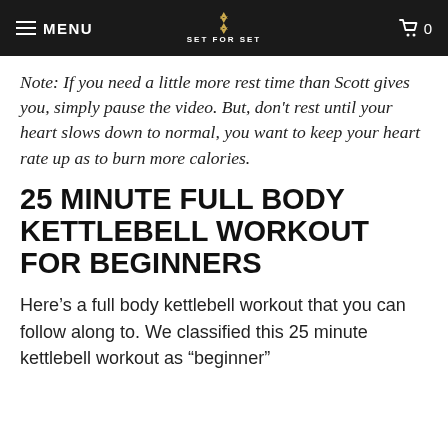MENU | SET FOR SET | 0
Note: If you need a little more rest time than Scott gives you, simply pause the video. But, don't rest until your heart slows down to normal, you want to keep your heart rate up as to burn more calories.
25 MINUTE FULL BODY KETTLEBELL WORKOUT FOR BEGINNERS
Here’s a full body kettlebell workout that you can follow along to. We classified this 25 minute kettlebell workout as “beginner”